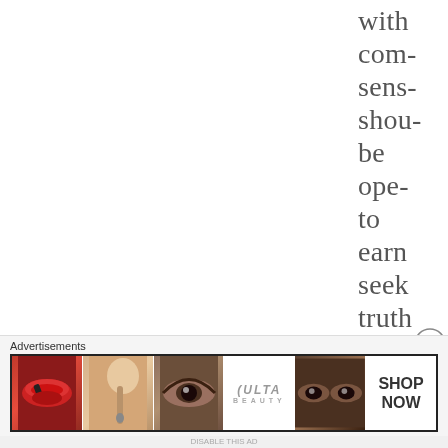with com- sens- shou- be ope- to earn seek truth and
[Figure (illustration): Close button (X in circle) icon at right edge]
Advertisements
[Figure (photo): Ulta Beauty advertisement banner with makeup imagery including lips, brush, eye, Ulta Beauty logo, eyes, and SHOP NOW call to action]
DISABLE THIS AD